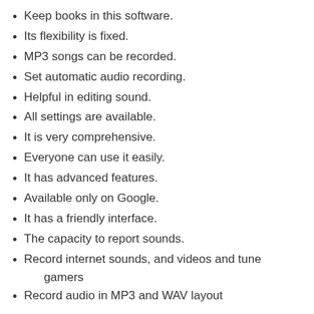Keep books in this software.
Its flexibility is fixed.
MP3 songs can be recorded.
Set automatic audio recording.
Helpful in editing sound.
All settings are available.
It is very comprehensive.
Everyone can use it easily.
It has advanced features.
Available only on Google.
It has a friendly interface.
The capacity to report sounds.
Record internet sounds, and videos and tune gamers
Record audio in MP3 and WAV layout